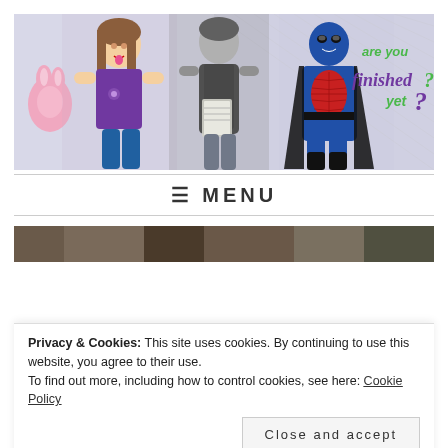[Figure (illustration): Website header banner showing illustrated characters: a girl in a purple shirt with a pink bunny, a grayscale photo of a woman holding a folder, and a boy in a Spiderman/superhero costume with a mask. Text reads 'are you finished yet?' in green and purple hand-lettered fonts.]
☰ MENU
[Figure (photo): Partial photo strip at bottom, showing grayscale/dark toned image, partially obscured by cookie consent banner.]
Privacy & Cookies: This site uses cookies. By continuing to use this website, you agree to their use.
To find out more, including how to control cookies, see here: Cookie Policy
Close and accept